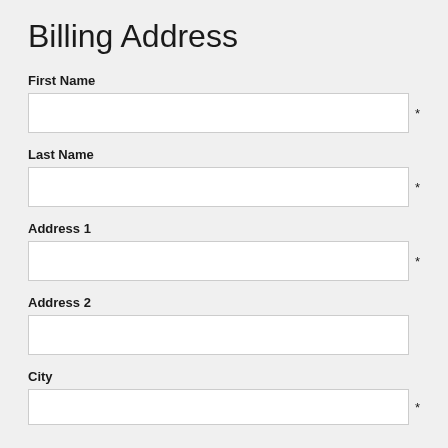Billing Address
First Name
Last Name
Address 1
Address 2
City